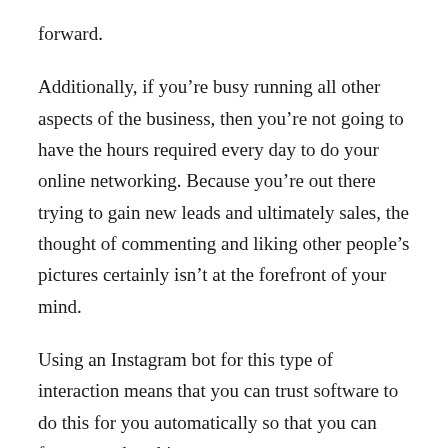forward.
Additionally, if you’re busy running all other aspects of the business, then you’re not going to have the hours required every day to do your online networking. Because you’re out there trying to gain new leads and ultimately sales, the thought of commenting and liking other people’s pictures certainly isn’t at the forefront of your mind.
Using an Instagram bot for this type of interaction means that you can trust software to do this for you automatically so that you can focus on other things.